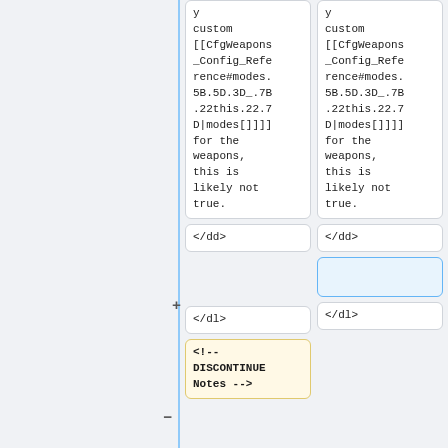[Figure (screenshot): Diff view showing two columns of code. Left column (old) and right column (new) both contain monospace code cells with content about custom [[CfgWeapons_Config_Reference#modes.5B.5D.3D_.7B.22this.22.7D|modes[]]]] for the weapons, this is likely not true. Below that are cells with </dd>, then </dl>, and a deleted cell with <!-- DISCONTINUE Notes -->. The right column has an added empty cell highlighted in blue next to the + marker.]